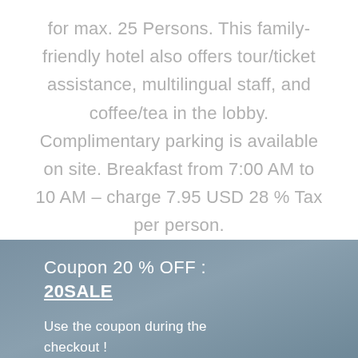for max. 25 Persons. This family-friendly hotel also offers tour/ticket assistance, multilingual staff, and coffee/tea in the lobby. Complimentary parking is available on site. Breakfast from 7:00 AM to 10 AM – charge 7.95 USD 28 % Tax per person.
[Figure (other): Coupon promotional banner with steel blue textured background showing '20% OFF' coupon code '20SALE' and usage instruction]